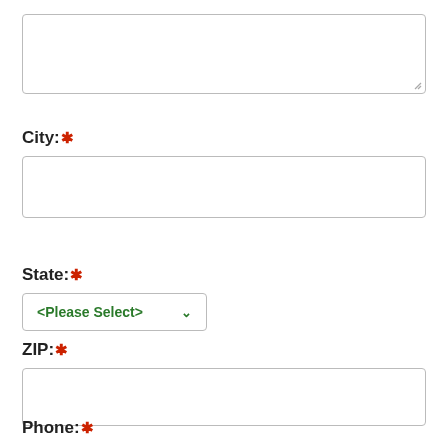[Figure (screenshot): Empty textarea input box with resize handle in bottom-right corner]
City: *
[Figure (screenshot): Empty single-line text input box for City field]
State: *
[Figure (screenshot): Dropdown select box showing '<Please Select>' in green text with down arrow]
ZIP: *
[Figure (screenshot): Empty single-line text input box for ZIP field]
Phone: *